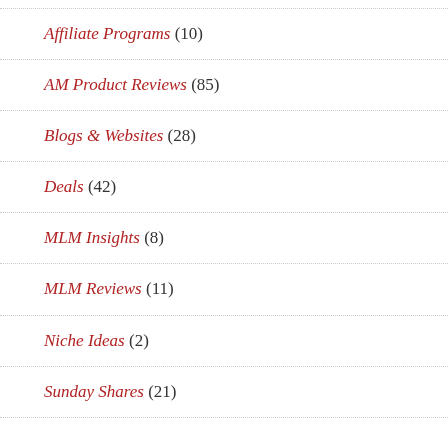Affiliate Programs (10)
AM Product Reviews (85)
Blogs & Websites (28)
Deals (42)
MLM Insights (8)
MLM Reviews (11)
Niche Ideas (2)
Sunday Shares (21)